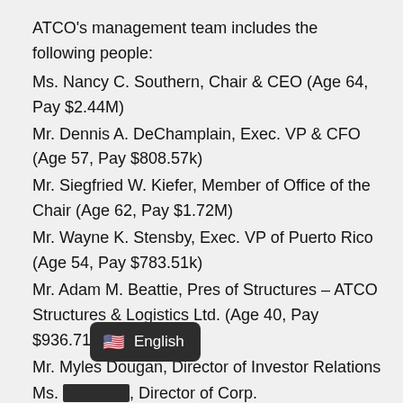ATCO's management team includes the following people:
Ms. Nancy C. Southern, Chair & CEO (Age 64, Pay $2.44M)
Mr. Dennis A. DeChamplain, Exec. VP & CFO (Age 57, Pay $808.57k)
Mr. Siegfried W. Kiefer, Member of Office of the Chair (Age 62, Pay $1.72M)
Mr. Wayne K. Stensby, Exec. VP of Puerto Rico (Age 54, Pay $783.51k)
Mr. Adam M. Beattie, Pres of Structures – ATCO Structures & Logistics Ltd. (Age 40, Pay $936.71k)
Mr. Myles Dougan, Director of Investor Relations
Ms. [obscured], Director of Corp. Communications
Mr. [obscured], Exec. VP of Corp. Devel.